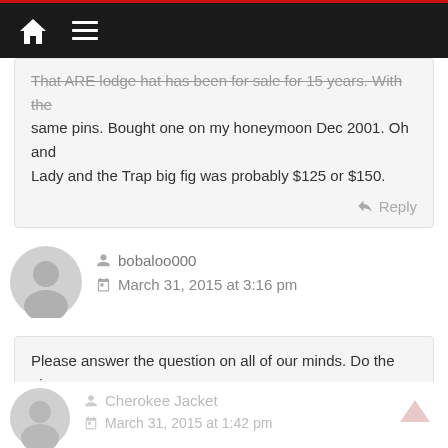Navigation bar with home and menu icons
That ARE lodge hat has been for sale for 15 years. With the same pins. Bought one on my honeymoon Dec 2001. Oh and Lady and the Trap big fig was probably $125 or $150.
Reply
[Figure (illustration): Gray circular avatar placeholder icon for user bobaloo000]
bobaloo000
March 31, 2015 at 3:16 pm
Please answer the question on all of our minds. Do the pin backers hurt your head when wearing the hat?
Reply
[Figure (illustration): Gray circular avatar placeholder icon for user Cherokee Jacket]
Cherokee Jacket
March 31, 2015 at 1:42 pm